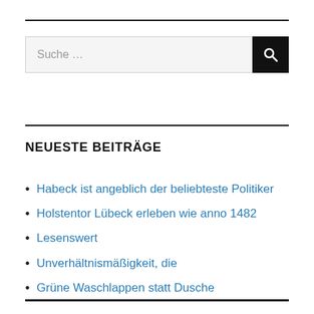[Figure (screenshot): Search bar with text 'Suche ...' and a black search button with magnifying glass icon]
NEUESTE BEITRÄGE
Habeck ist angeblich der beliebteste Politiker
Holstentor Lübeck erleben wie anno 1482
Lesenswert
Unverhältnismäßigkeit, die
Grüne Waschlappen statt Dusche